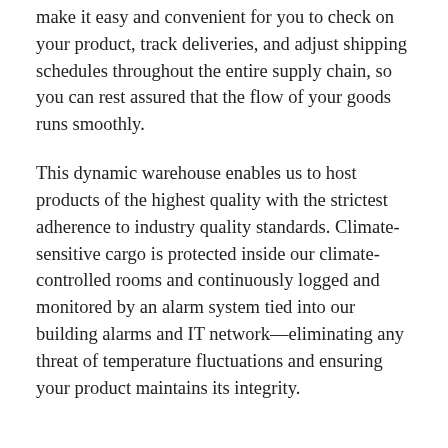make it easy and convenient for you to check on your product, track deliveries, and adjust shipping schedules throughout the entire supply chain, so you can rest assured that the flow of your goods runs smoothly.
This dynamic warehouse enables us to host products of the highest quality with the strictest adherence to industry quality standards. Climate-sensitive cargo is protected inside our climate-controlled rooms and continuously logged and monitored by an alarm system tied into our building alarms and IT network—eliminating any threat of temperature fluctuations and ensuring your product maintains its integrity.